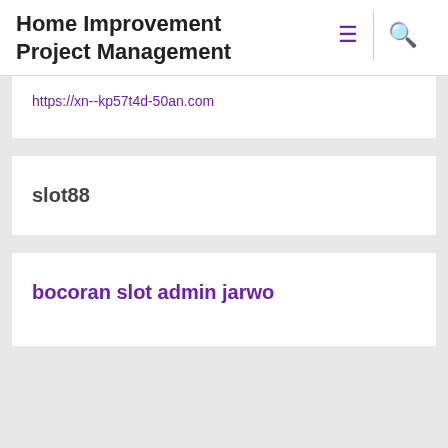Home Improvement Project Management
https://xn--kp57t4d-50an.com
slot88
bocoran slot admin jarwo